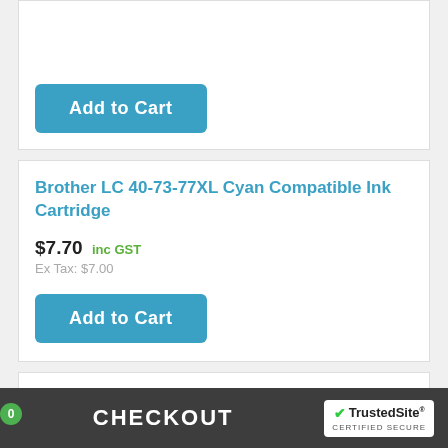Add to Cart
Brother LC 40-73-77XL Cyan Compatible Ink Cartridge
$7.70 inc GST
Ex Tax: $7.00
Add to Cart
Brother LC 40-73-77XL Magenta Compatible Ink Cartridge
$7.70 inc GST
Ex Tax: $7.00
0  CHECKOUT  TrustedSite CERTIFIED SECURE